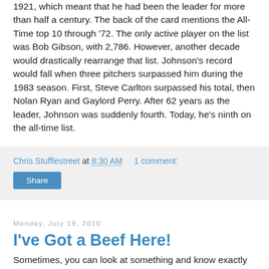1921, which meant that he had been the leader for more than half a century. The back of the card mentions the All-Time top 10 through '72. The only active player on the list was Bob Gibson, with 2,786. However, another decade would drastically rearrange that list. Johnson's record would fall when three pitchers surpassed him during the 1983 season. First, Steve Carlton surpassed his total, then Nolan Ryan and Gaylord Perry. After 62 years as the leader, Johnson was suddenly fourth. Today, he's ninth on the all-time list.
Chris Stufflestreet at 8:30 AM   1 comment:
Share
Monday, July 19, 2010
I've Got a Beef Here!
Sometimes, you can look at something and know exactly what it is without much effort. In that case, what you see here is definitely a Topps baseball card. The picture